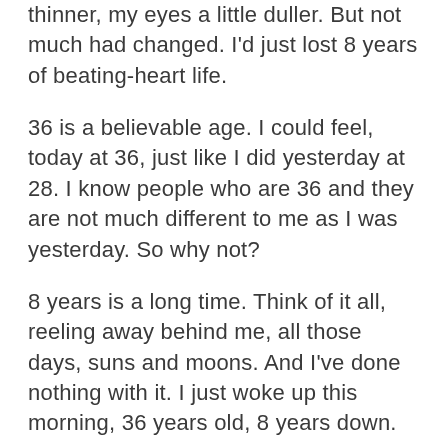thinner, my eyes a little duller. But not much had changed. I'd just lost 8 years of beating-heart life.
36 is a believable age. I could feel, today at 36, just like I did yesterday at 28. I know people who are 36 and they are not much different to me as I was yesterday. So why not?
8 years is a long time. Think of it all, reeling away behind me, all those days, suns and moons. And I've done nothing with it. I just woke up this morning, 36 years old, 8 years down.
Hits me in the guts, thinking of all the things I could have done if I hadn't been asleep. I want to cry, I want to jump and